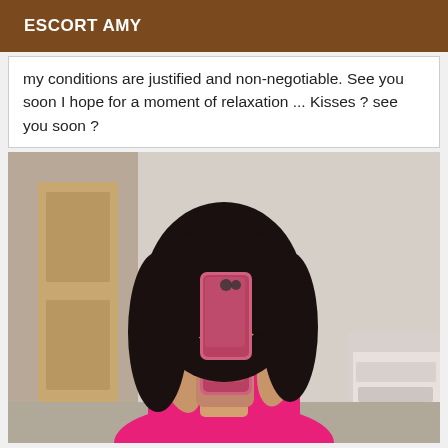ESCORT AMY
my conditions are justified and non-negotiable. See you soon I hope for a moment of relaxation ... Kisses ? see you soon ?
[Figure (photo): Woman in pink leopard-print outfit taking a mirror selfie, holding a pink phone in front of her face, dark hair, in a room with a wooden door visible in the background.]